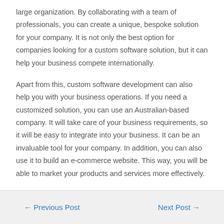large organization. By collaborating with a team of professionals, you can create a unique, bespoke solution for your company. It is not only the best option for companies looking for a custom software solution, but it can help your business compete internationally.
Apart from this, custom software development can also help you with your business operations. If you need a customized solution, you can use an Australian-based company. It will take care of your business requirements, so it will be easy to integrate into your business. It can be an invaluable tool for your company. In addition, you can also use it to build an e-commerce website. This way, you will be able to market your products and services more effectively.
← Previous Post    Next Post →